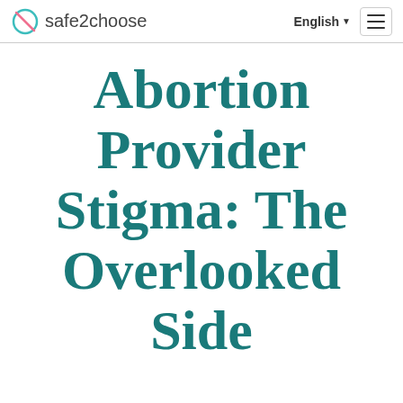safe2choose | English ☰
Abortion Provider Stigma: The Overlooked Side